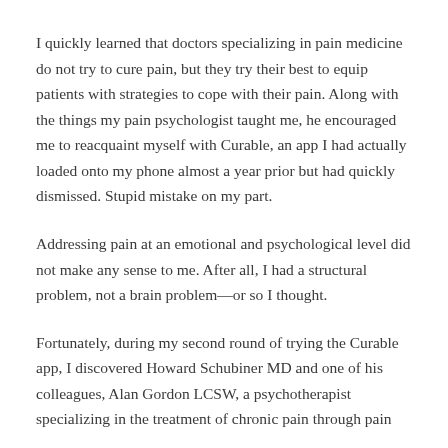I quickly learned that doctors specializing in pain medicine do not try to cure pain, but they try their best to equip patients with strategies to cope with their pain. Along with the things my pain psychologist taught me, he encouraged me to reacquaint myself with Curable, an app I had actually loaded onto my phone almost a year prior but had quickly dismissed. Stupid mistake on my part.
Addressing pain at an emotional and psychological level did not make any sense to me. After all, I had a structural problem, not a brain problem—or so I thought.
Fortunately, during my second round of trying the Curable app, I discovered Howard Schubiner MD and one of his colleagues, Alan Gordon LCSW, a psychotherapist specializing in the treatment of chronic pain through pain